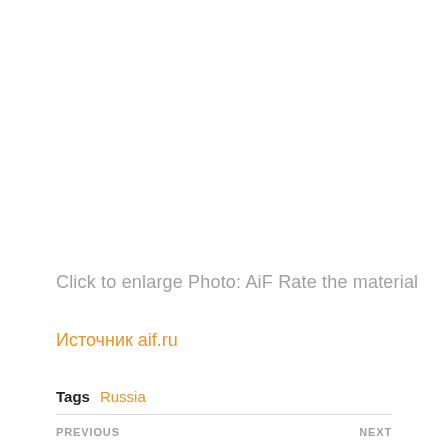Click to enlarge Photo: AiF Rate the material
Источник aif.ru
Tags  Russia
PREVIOUS    NEXT